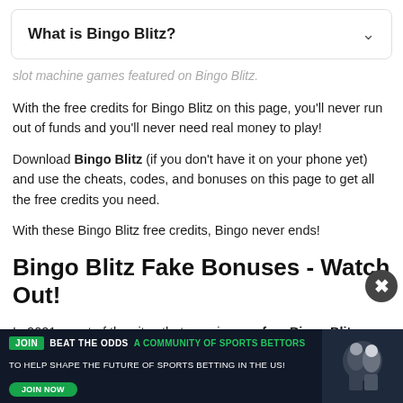What is Bingo Blitz?
slot machine games featured on Bingo Blitz.
With the free credits for Bingo Blitz on this page, you'll never run out of funds and you'll never need real money to play!
Download Bingo Blitz (if you don't have it on your phone yet) and use the cheats, codes, and bonuses on this page to get all the free credits you need.
With these Bingo Blitz free credits, Bingo never ends!
Bingo Blitz Fake Bonuses - Watch Out!
In 2021, most of the sites that promise you free Bingo Blitz credits
[Figure (infographic): Advertisement banner: JOIN BEAT THE ODDS A COMMUNITY OF SPORTS BETTORS TO HELP SHAPE THE FUTURE OF SPORTS BETTING IN THE US! with JOIN NOW button]